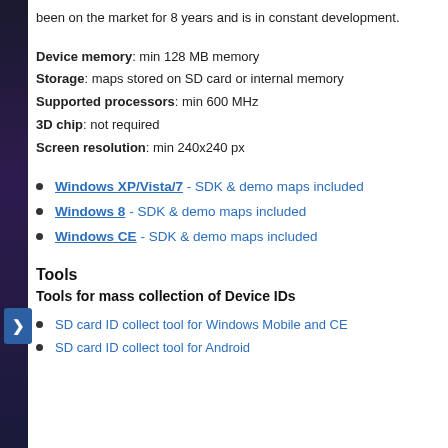been on the market for 8 years and is in constant development.
Device memory: min 128 MB memory
Storage: maps stored on SD card or internal memory
Supported processors: min 600 MHz
3D chip: not required
Screen resolution: min 240x240 px
Windows XP/Vista/7 - SDK & demo maps included
Windows 8 - SDK & demo maps included
Windows CE - SDK & demo maps included
Tools
Tools for mass collection of Device IDs
SD card ID collect tool for Windows Mobile and CE
SD card ID collect tool for Android